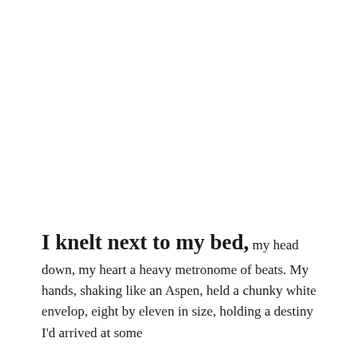I knelt next to my bed, my head down, my heart a heavy metronome of beats. My hands, shaking like an Aspen, held a chunky white envelop, eight by eleven in size, holding a destiny I'd arrived at some